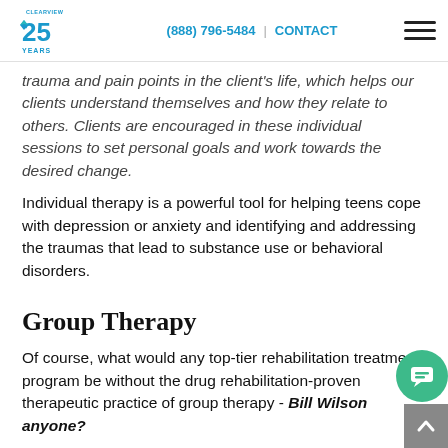(888) 796-5484 | CONTACT
trauma and pain points in the client's life, which helps our clients understand themselves and how they relate to others. Clients are encouraged in these individual sessions to set personal goals and work towards the desired change.
Individual therapy is a powerful tool for helping teens cope with depression or anxiety and identifying and addressing the traumas that lead to substance use or behavioral disorders.
Group Therapy
Of course, what would any top-tier rehabilitation treatment program be without the drug rehabilitation-proven therapeutic practice of group therapy - Bill Wilson anyone?